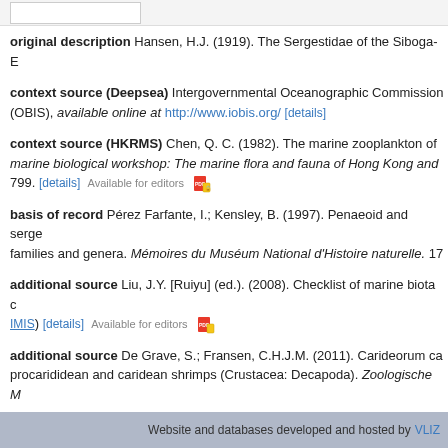original description Hansen, H.J. (1919). The Sergestidae of the Siboga-E...
context source (Deepsea) Intergovernmental Oceanographic Commission (OBIS), available online at http://www.iobis.org/ [details]
context source (HKRMS) Chen, Q. C. (1982). The marine zooplankton of... marine biological workshop: The marine flora and fauna of Hong Kong and... 799. [details] Available for editors [PDF icon]
basis of record Pérez Farfante, I.; Kensley, B. (1997). Penaeoid and serge... families and genera. Mémoires du Muséum National d'Histoire naturelle. 17...
additional source Liu, J.Y. [Ruiyu] (ed.). (2008). Checklist of marine biota c... IMIS) [details] Available for editors [PDF icon]
additional source De Grave, S.; Fransen, C.H.J.M. (2011). Carideorum ca... procarididean and caridean shrimps (Crustacea: Decapoda). Zoologische M...
Website and databases developed and hosted by VLIZ...